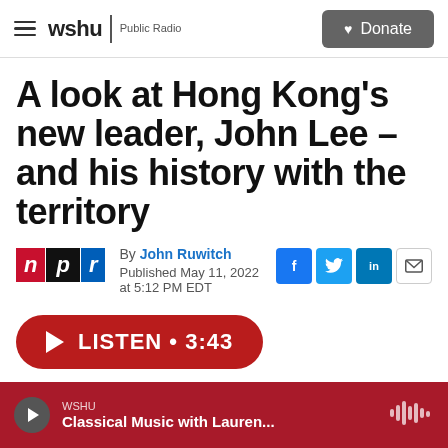wshu | Public Radio   Donate
A look at Hong Kong's new leader, John Lee – and his history with the territory
By John Ruwitch
Published May 11, 2022 at 5:12 PM EDT
LISTEN • 3:43
WSHU Classical Music with Lauren...